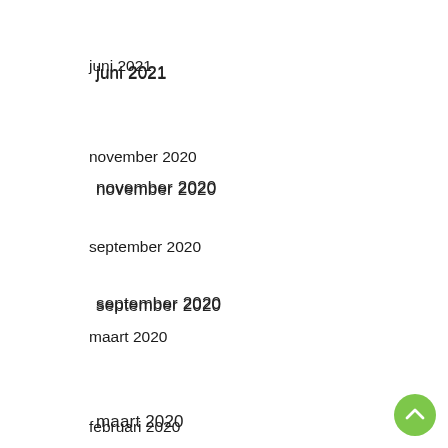juni 2021
november 2020
september 2020
maart 2020
februari 2020
januari 2020
december 2019
november 2019
oktober 2019